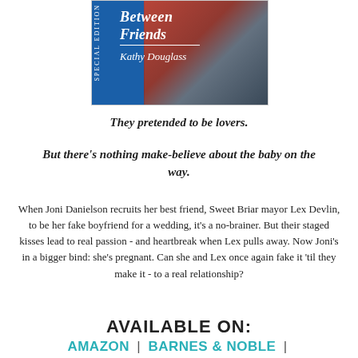[Figure (illustration): Book cover for 'Between Friends' by Kathy Douglass, showing a couple embracing in the rain with a blue publisher banner on the left side.]
They pretended to be lovers.
But there's nothing make-believe about the baby on the way.
When Joni Danielson recruits her best friend, Sweet Briar mayor Lex Devlin, to be her fake boyfriend for a wedding, it's a no-brainer. But their staged kisses lead to real passion - and heartbreak when Lex pulls away. Now Joni's in a bigger bind: she's pregnant. Can she and Lex once again fake it 'til they make it - to a real relationship?
AVAILABLE ON:
AMAZON | BARNES & NOBLE |